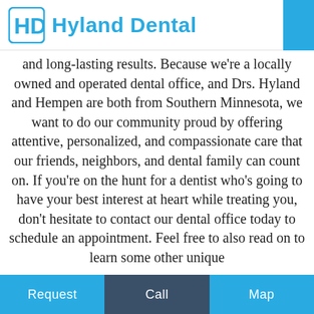Hyland Dental
and long-lasting results. Because we're a locally owned and operated dental office, and Drs. Hyland and Hempen are both from Southern Minnesota, we want to do our community proud by offering attentive, personalized, and compassionate care that our friends, neighbors, and dental family can count on. If you're on the hunt for a dentist who's going to have your best interest at heart while treating you, don't hesitate to contact our dental office today to schedule an appointment. Feel free to also read on to learn some other unique
Request   Call   Map